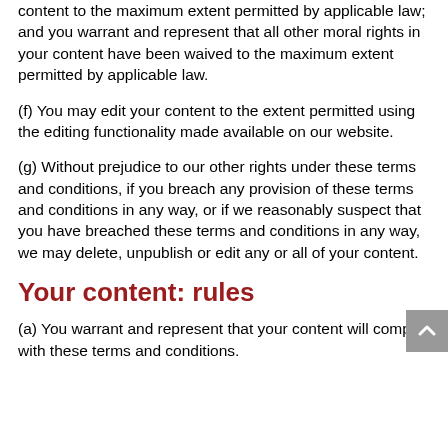content to the maximum extent permitted by applicable law; and you warrant and represent that all other moral rights in your content have been waived to the maximum extent permitted by applicable law.
(f) You may edit your content to the extent permitted using the editing functionality made available on our website.
(g) Without prejudice to our other rights under these terms and conditions, if you breach any provision of these terms and conditions in any way, or if we reasonably suspect that you have breached these terms and conditions in any way, we may delete, unpublish or edit any or all of your content.
Your content: rules
(a) You warrant and represent that your content will comply with these terms and conditions.